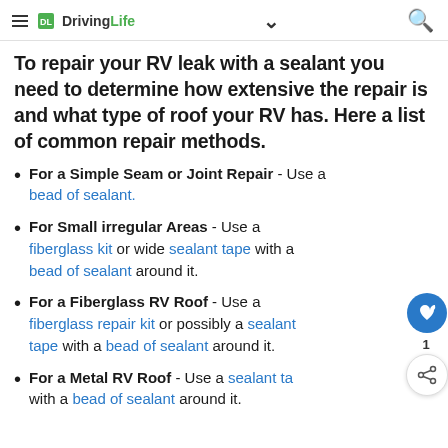DrivingLife
To repair your RV leak with a sealant you need to determine how extensive the repair is and what type of roof your RV has. Here a list of common repair methods.
For a Simple Seam or Joint Repair - Use a bead of sealant.
For Small irregular Areas - Use a fiberglass kit or wide sealant tape with a bead of sealant around it.
For a Fiberglass RV Roof - Use a fiberglass repair kit or possibly a sealant tape with a bead of sealant around it.
For a Metal RV Roof - Use a sealant tape with a bead of sealant around it.